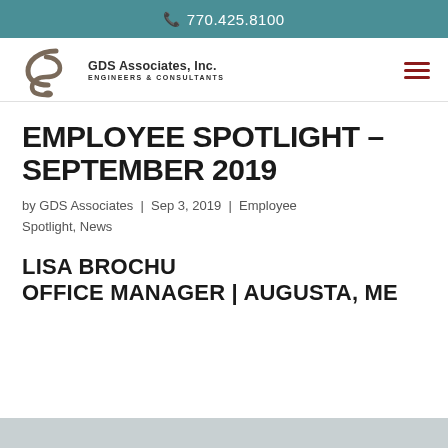770.425.8100
[Figure (logo): GDS Associates, Inc. Engineers & Consultants logo with stylized S graphic]
EMPLOYEE SPOTLIGHT – SEPTEMBER 2019
by GDS Associates | Sep 3, 2019 | Employee Spotlight, News
LISA BROCHU
OFFICE MANAGER | AUGUSTA, ME
[Figure (photo): Partial bottom image strip]